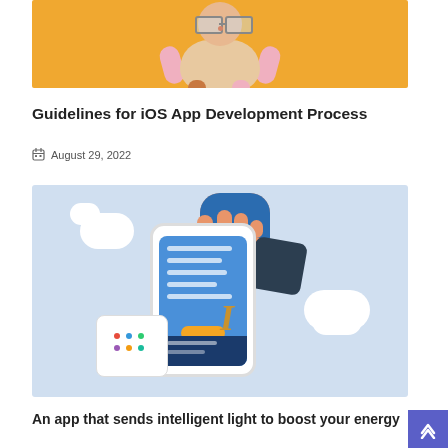[Figure (illustration): 3D cartoon character illustration on yellow/orange background — round-headed character with glasses, pink limbs, viewed from above]
Guidelines for iOS App Development Process
August 29, 2022
[Figure (illustration): 3D illustration of a hand holding a smartphone with iOS app UI, surrounded by clouds, dark cards, a white dot-grid card, a gold cursor/I-beam, and a dark screen with code]
An app that sends intelligent light to boost your energy